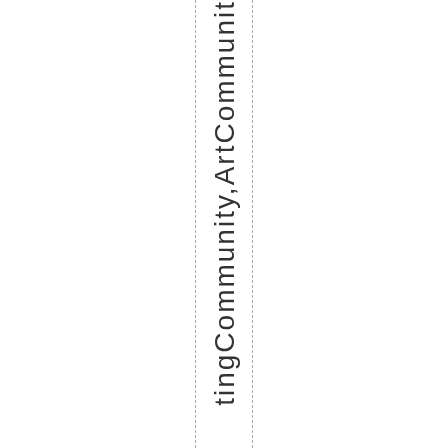tingCommunity,ArtCommunity,ArtCommunit